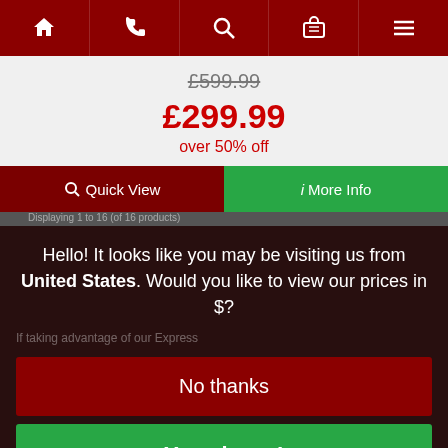[Figure (screenshot): Navigation bar with home, phone, search, basket, and menu icons on dark red background]
£599.99
£299.99
over 50% off
Quick View
More Info
Displaying 1 to 16 (of 16 products)
Hello! It looks like you may be visiting us from United States. Would you like to view our prices in $?
No thanks
If taking advantage of our Express
Yes please!
one hour time slot for delivery...